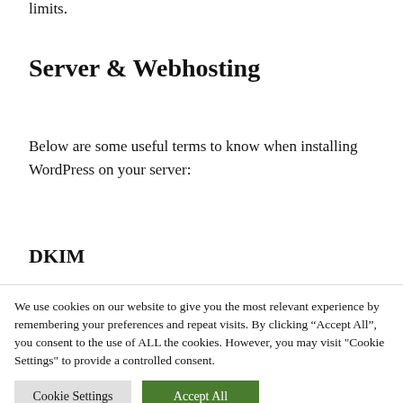limits.
Server & Webhosting
Below are some useful terms to know when installing WordPress on your server:
DKIM
We use cookies on our website to give you the most relevant experience by remembering your preferences and repeat visits. By clicking "Accept All", you consent to the use of ALL the cookies. However, you may visit "Cookie Settings" to provide a controlled consent.